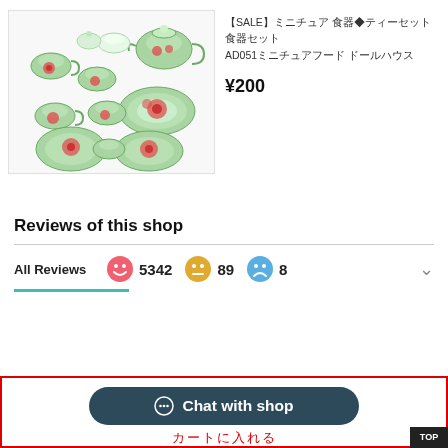[Figure (photo): Miniature green and red floral tea set pieces arranged on white background including teapot, cups, saucers, and plates]
【SALE】ミニチュア 食器◆ティーセット　 食器セットAD051ミニチュアフード ドールハウス
¥200
Reviews of this shop
All Reviews  😊 5342  😐 89  😞 8
Chat with shop
カートに入れる